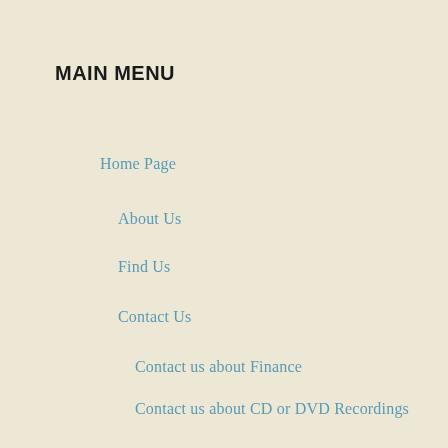MAIN MENU
Home Page
About Us
Find Us
Contact Us
Contact us about Finance
Contact us about CD or DVD Recordings
Downloads
Ministers